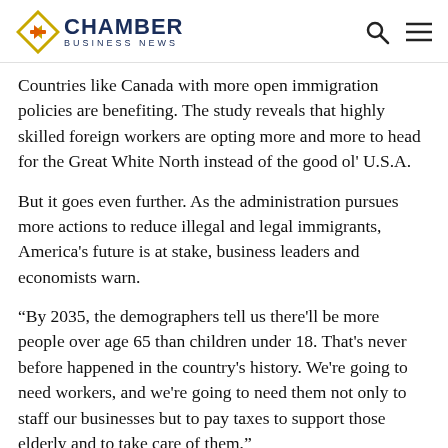CHAMBER BUSINESS NEWS
Countries like Canada with more open immigration policies are benefiting. The study reveals that highly skilled foreign workers are opting more and more to head for the Great White North instead of the good ol' U.S.A.
But it goes even further. As the administration pursues more actions to reduce illegal and legal immigrants, America's future is at stake, business leaders and economists warn.
“By 2035, the demographers tell us there'll be more people over age 65 than children under 18. That's never before happened in the country's history. We're going to need workers, and we're going to need them not only to staff our businesses but to pay taxes to support those elderly and to take care of them,” David Wessel, director of the Brookings Institution's